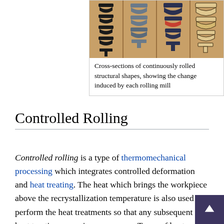[Figure (photo): Photo of cross-sections of continuously rolled structural shapes arranged in four vertical columns on wooden boards, showing progression of shape change through rolling mills]
Cross-sections of continuously rolled structural shapes, showing the change induced by each rolling mill
Controlled Rolling
Controlled rolling is a type of thermomechanical processing which integrates controlled deformation and heat treating. The heat which brings the workpiece above the recrystallization temperature is also used to perform the heat treatments so that any subsequent heat treating is unnecessary. Types of heat treatments include